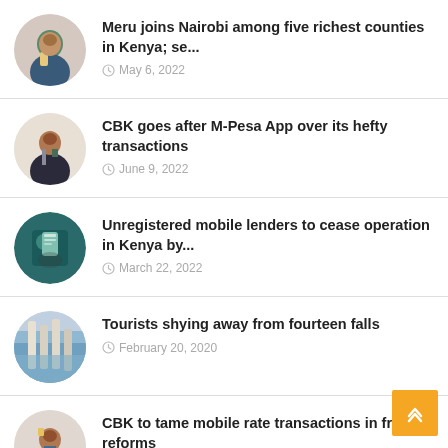Meru joins Nairobi among five richest counties in Kenya; se... — May 6, 2022
CBK goes after M-Pesa App over its hefty transactions — June 9, 2022
Unregistered mobile lenders to cease operation in Kenya by... — March 22, 2022
Tourists shying away from fourteen falls — February 20, 2020
CBK to tame mobile rate transactions in fresh reforms — February 24, 2022